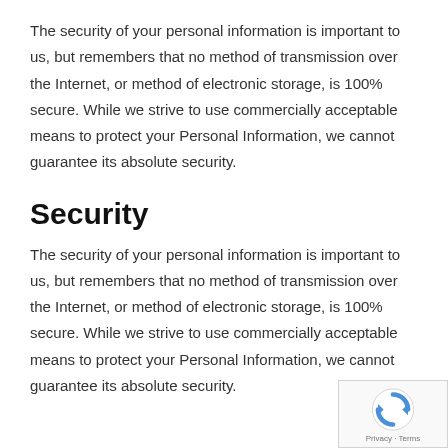The security of your personal information is important to us, but remembers that no method of transmission over the Internet, or method of electronic storage, is 100% secure. While we strive to use commercially acceptable means to protect your Personal Information, we cannot guarantee its absolute security.
Security
The security of your personal information is important to us, but remembers that no method of transmission over the Internet, or method of electronic storage, is 100% secure. While we strive to use commercially acceptable means to protect your Personal Information, we cannot guarantee its absolute security.